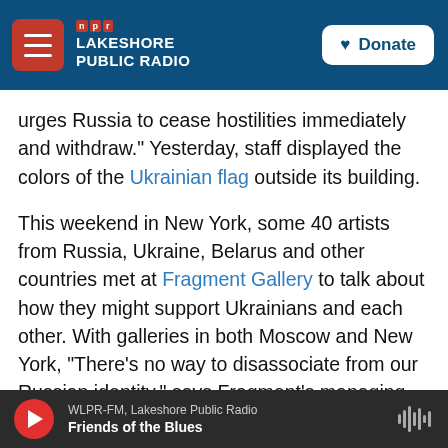NPR — Lakeshore Public Radio — Donate
urges Russia to cease hostilities immediately and withdraw." Yesterday, staff displayed the colors of the Ukrainian flag outside its building.
This weekend in New York, some 40 artists from Russia, Ukraine, Belarus and other countries met at Fragment Gallery to talk about how they might support Ukrainians and each other. With galleries in both Moscow and New York, "There's no way to disassociate from our Russian identity," says Fragment's managing partner Anton Svyatsky.
Fragment shows work by queer Russian artists
WLPR-FM, Lakeshore Public Radio — Friends of the Blues